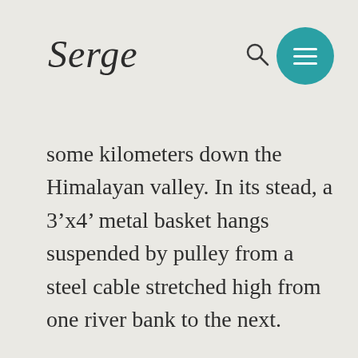Serge
some kilometers down the Himalayan valley. In its stead, a 3’x4’ metal basket hangs suspended by pulley from a steel cable stretched high from one river bank to the next.
Rishi and I climb in, seated on the edges, and pull ourselves through the air, hand over hand across the gap by way of a thick, hemp rope loosely attached to the cable on successive metal rings. The metal is biting cold,